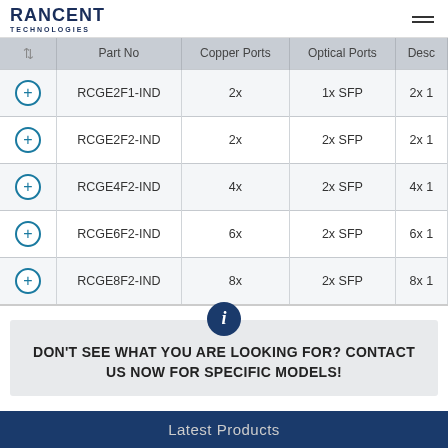RANCENT TECHNOLOGIES
|  | Part No | Copper Ports | Optical Ports | Desc |
| --- | --- | --- | --- | --- |
|  | RCGE2F1-IND | 2x | 1x SFP | 2x 1 |
|  | RCGE2F2-IND | 2x | 2x SFP | 2x 1 |
|  | RCGE4F2-IND | 4x | 2x SFP | 4x 1 |
|  | RCGE6F2-IND | 6x | 2x SFP | 6x 1 |
|  | RCGE8F2-IND | 8x | 2x SFP | 8x 1 |
DON'T SEE WHAT YOU ARE LOOKING FOR? CONTACT US NOW FOR SPECIFIC MODELS!
Latest Products